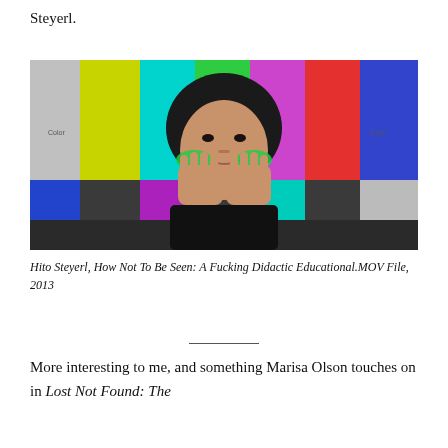Steyerl.
[Figure (photo): Hito Steyerl posing in front of a color bars test pattern background, hands raised to face with green painted fingers, from the video work 'How Not To Be Seen']
Hito Steyerl, How Not To Be Seen: A Fucking Didactic Educational.MOV File, 2013
More interesting to me, and something Marisa Olson touches on in Lost Not Found: The